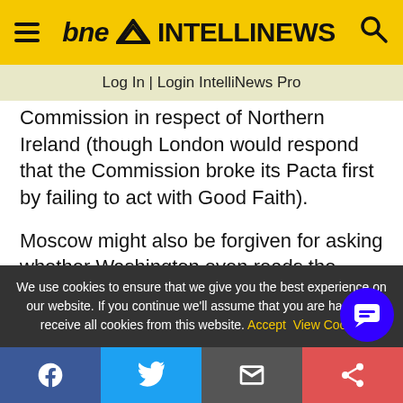bne INTELLINEWS
Log In | Login IntelliNews Pro
Commission in respect of Northern Ireland (though London would respond that the Commission broke its Pacta first by failing to act with Good Faith).
Moscow might also be forgiven for asking whether Washington even reads the treaties which it has signed. Mr Blinken's repeated assertions that Nato is open to all, and that no-one has the right to dictate future memberships, is the exact opposite of the North Atlantic Treaty's wording, which limits
We use cookies to ensure that we give you the best experience on our website. If you continue we'll assume that you are happy to receive all cookies from this website. Accept   View Cookie